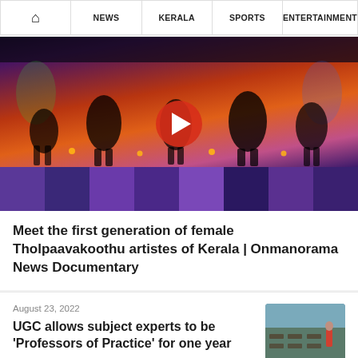🏠 NEWS  KERALA  SPORTS  ENTERTAINMENT
[Figure (photo): A video thumbnail showing shadow puppet (Tholpaavakoothu) performers silhouetted against a glowing orange-red background, with colorful strips at the bottom. A red play button is overlaid in the center.]
Meet the first generation of female Tholpaavakoothu artistes of Kerala | Onmanorama News Documentary
August 23, 2022
UGC allows subject experts to be 'Professors of Practice' for one year